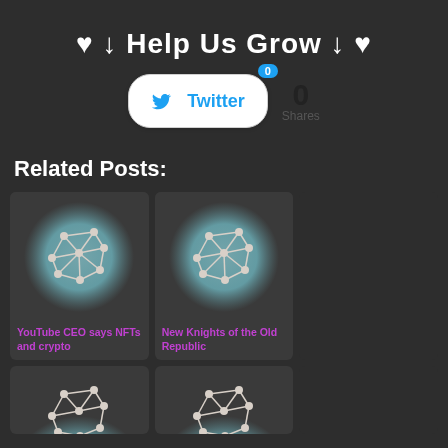♥ ↓ Help Us Grow ↓ ♥
[Figure (infographic): Twitter share button with badge showing 0 shares]
Related Posts:
[Figure (illustration): Network/blockchain node graph icon on teal circle blur background]
YouTube CEO says NFTs and crypto
[Figure (illustration): Network/blockchain node graph icon on teal circle blur background]
New Knights of the Old Republic
[Figure (illustration): Network/blockchain node graph icon on teal circle blur background (partial, bottom row)]
[Figure (illustration): Network/blockchain node graph icon on teal circle blur background (partial, bottom row)]